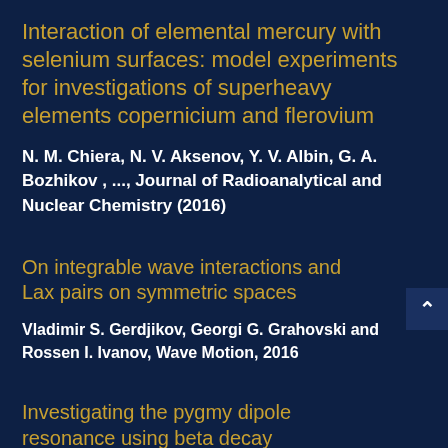Interaction of elemental mercury with selenium surfaces: model experiments for investigations of superheavy elements copernicium and flerovium
N. M. Chiera, N. V. Aksenov, Y. V. Albin, G. A. Bozhikov , ..., Journal of Radioanalytical and Nuclear Chemistry (2016)
On integrable wave interactions and Lax pairs on symmetric spaces
Vladimir S. Gerdjikov, Georgi G. Grahovski and Rossen I. Ivanov, Wave Motion, 2016
Investigating the pygmy dipole resonance using beta decay
M. Scheck, S. Mishev, V. Yu. Ponomarev, ..., Phys.